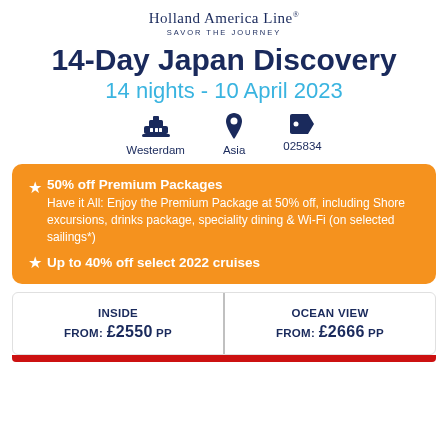[Figure (logo): Holland America Line logo with tagline SAVOR THE JOURNEY]
14-Day Japan Discovery
14 nights - 10 April 2023
[Figure (infographic): Three icons: ship (Westerdam), location pin (Asia), tag (025834)]
50% off Premium Packages
Have it All: Enjoy the Premium Package at 50% off, including Shore excursions, drinks package, speciality dining & Wi-Fi (on selected sailings*)
Up to 40% off select 2022 cruises
| INSIDE | OCEAN VIEW |
| --- | --- |
| FROM: £2550 pp | FROM: £2666 pp |